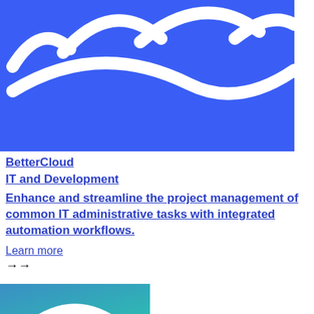[Figure (logo): BetterCloud logo on blue background with white wave/arc shapes at the top]
BetterCloud
IT and Development
Enhance and streamline the project management of common IT administrative tasks with integrated automation workflows.
Learn more →→
[Figure (logo): Partial logo on teal/green gradient background with white arc shape, bottom of page]